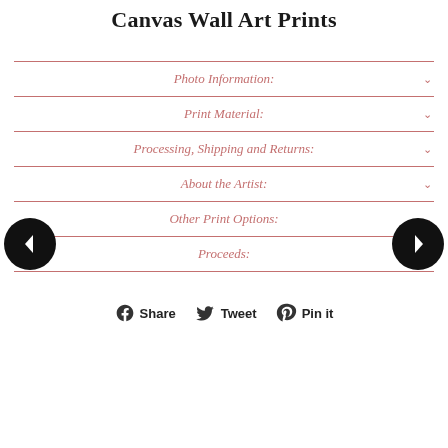Canvas Wall Art Prints
Photo Information:
Print Material:
Processing, Shipping and Returns:
About the Artist:
Other Print Options:
Proceeds:
Share   Tweet   Pin it